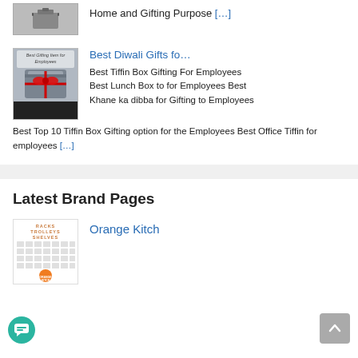Home and Gifting Purpose […]
[Figure (photo): Thumbnail image of a tiffin box gift item for employees, with text 'Best Gifting Item for Employees' and a red ribbon]
Best Diwali Gifts fo…
Best Tiffin Box Gifting For Employees Best Lunch Box to for Employees Best Khane ka dibba for Gifting to Employees Best Top 10 Tiffin Box Gifting option for the Employees Best Office Tiffin for employees […]
Latest Brand Pages
[Figure (photo): Orange Kitch brand thumbnail showing racks, trolleys, shelves grid and orange kitch logo]
Orange Kitch